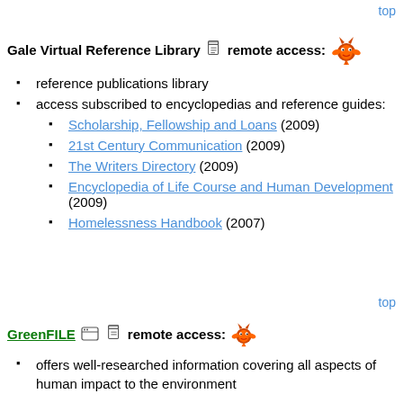top
Gale Virtual Reference Library 📄 remote access:
reference publications library
access subscribed to encyclopedias and reference guides:
Scholarship, Fellowship and Loans (2009)
21st Century Communication (2009)
The Writers Directory (2009)
Encyclopedia of Life Course and Human Development (2009)
Homelessness Handbook (2007)
top
GreenFILE 📄 remote access:
offers well-researched information covering all aspects of human impact to the environment
its collection of scholarly, government and general-interest titles includes content on global warming, green building, pollution, sustainable agriculture, renewable energy, recycling, and more
the database provides indexing and abstracts for more than 384,000 records, as well as Open Access full text for more than 4,700 records